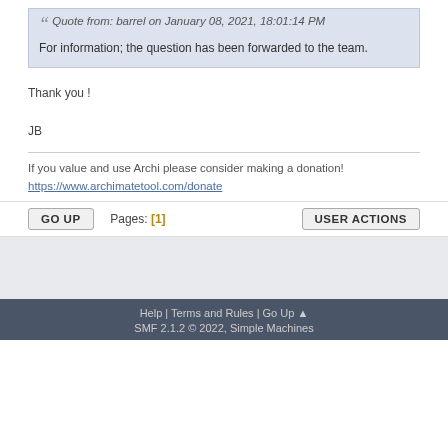Quote from: barrel on January 08, 2021, 18:01:14 PM
For information; the question has been forwarded to the team.
Thank you !

JB
If you value and use Archi please consider making a donation! https://www.archimatetool.com/donate
Help | Terms and Rules | Go Up ▲
SMF 2.1.2 © 2022, Simple Machines